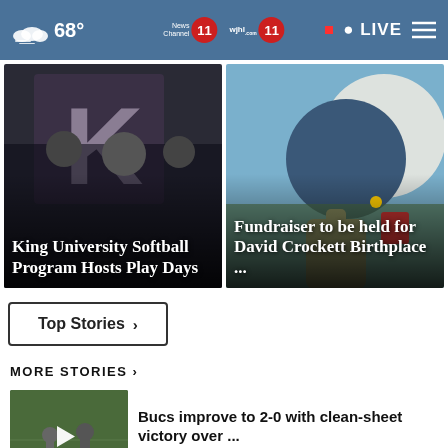68° News Channel 11 wjhl.com 11 LIVE
[Figure (photo): King University Softball players in dark uniforms with a large K letter in background]
King University Softball Program Hosts Play Days
[Figure (photo): Person holding a large circular moon-like disc with party decorations]
Fundraiser to be held for David Crockett Birthplace ...
Top Stories ›
MORE STORIES ›
[Figure (photo): Soccer players on field thumbnail with play button]
Bucs improve to 2-0 with clean-sheet victory over ...